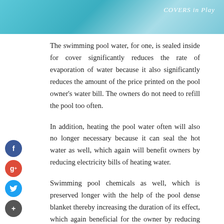[Figure (photo): Top banner image of a swimming pool with blue water. Text overlay reads 'COVERS in Play' in white italic font on the right side.]
The swimming pool water, for one, is sealed inside for cover significantly reduces the rate of evaporation of water because it also significantly reduces the amount of the price printed on the pool owner's water bill. The owners do not need to refill the pool too often.
In addition, heating the pool water often will also no longer necessary because it can seal the hot water as well, which again will benefit owners by reducing electricity bills of heating water.
Swimming pool chemicals as well, which is preserved longer with the help of the pool dense blanket thereby increasing the duration of its effect, which again beneficial for the owner by reducing the need to buy more chemicals often.